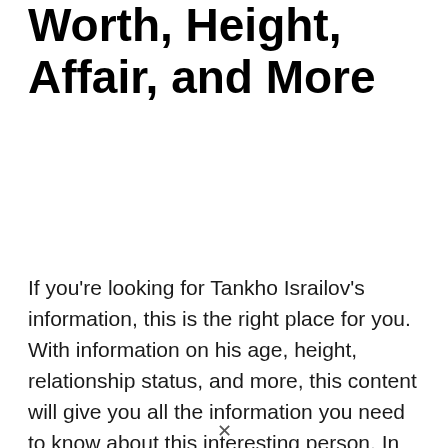Tankho Israilov Age, Net Worth, Height, Affair, and More
If you're looking for Tankho Israilov's information, this is the right place for you. With information on his age, height, relationship status, and more, this content will give you all the information you need to know about this interesting person. In addition to revealing some interesting facts about Tankho Israilov, this article also provides a wealth of other interesting data about him. So if you're looking for an in-depth information about Tankho Israilov's th...